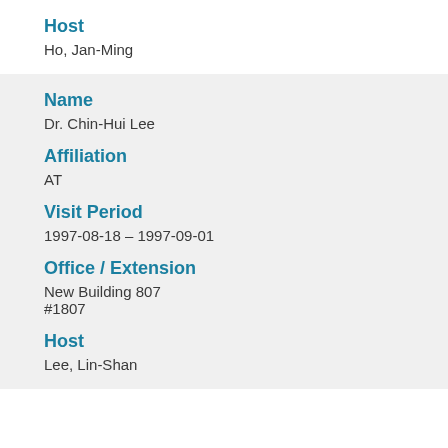Host
Ho, Jan-Ming
Name
Dr. Chin-Hui Lee
Affiliation
AT
Visit Period
1997-08-18 – 1997-09-01
Office / Extension
New Building 807
#1807
Host
Lee, Lin-Shan